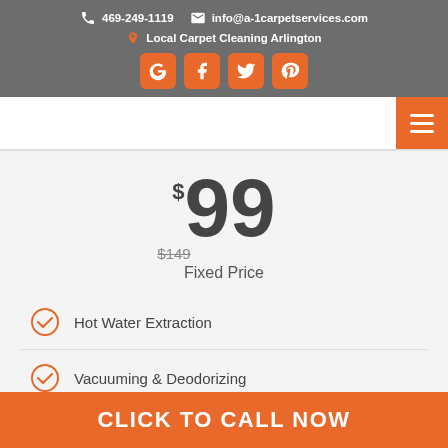469-249-1119   info@a-1carpetservices.com   Local Carpet Cleaning Arlington
[Figure (logo): Social media icons: Google, Facebook, Twitter, Pinterest (orange rounded square buttons)]
[Figure (other): Orange hamburger menu button (three white lines)]
$99 Fixed Price (was $149)
Hot Water Extraction
Vacuuming & Deodorizing
Fast Carpet Drying Time
CLICK TO CALL NOW